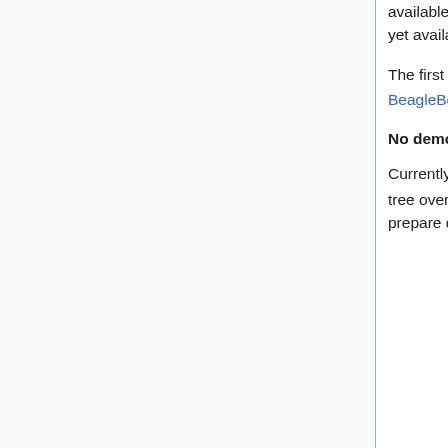available for the various types of Capes offered by BeagleBone. However, no overlays are yet available for the Robotics Cape. These will need to be created.
The first step is to create a device tree overlay based on Device Tree for Robotics Cape on BeagleBone Black, following the Device Tree Overlay Creation Article".
No demo code explaining how to use each Cape.
Currently we do not yet have demo code for each Cape to see how it works with the device tree overlay for each Cape. I need to add demo code for each Cape to [1], or otherwise prepare documentation for developers and end users.